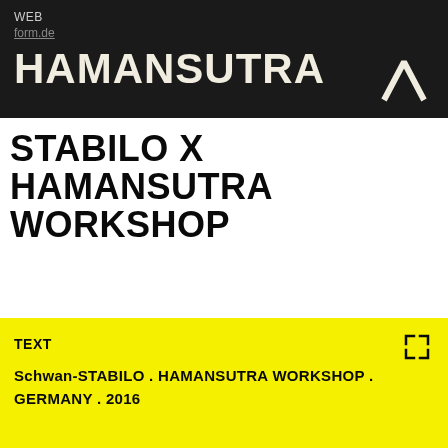WEB
form.de
HAMANSUTRA
STABILO X HAMANSUTRA WORKSHOP
TEXT
Schwan-STABILO . HAMANSUTRA WORKSHOP . GERMANY . 2016